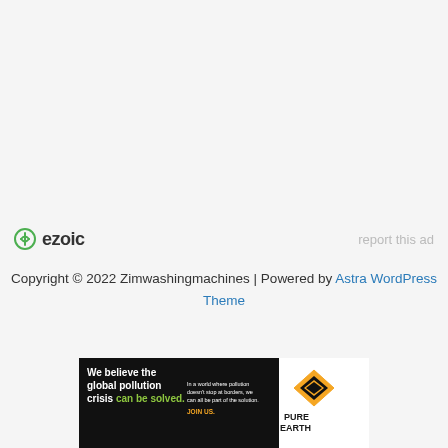[Figure (logo): Ezoic logo with green circular icon and bold text 'ezoic', with 'report this ad' text on the right]
Copyright © 2022 Zimwashingmachines | Powered by Astra WordPress Theme
[Figure (photo): Pure Earth advertisement banner: black background with green and white text 'We believe the global pollution crisis can be solved.' and 'In a world where pollution doesn't stop at borders, we can all be part of the solution. JOIN US.' with Pure Earth logo (diamond/arrow shape) on the right]